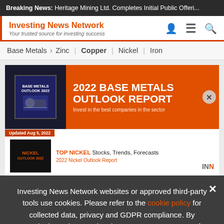Breaking News: Heritage Mining Ltd. Completes Initial Public Offeri...
Investing News Network
Your trusted source for investing success
Base Metals > Zinc | Copper | Nickel | Iron
[Figure (screenshot): 2022 Base Metals Outlook Report banner advertisement with orange background showing book cover and bold title text]
Updated Aug 5, 2022
TOP NICKEL Stocks, Trends, Forecasts
2022 Nickel Outlook Report
INN
Investing News Network websites or approved third-party tools use cookies. Please refer to the cookie policy for collected data, privacy and GDPR compliance. By continuing to browse the site, you agree to our use of cookies.